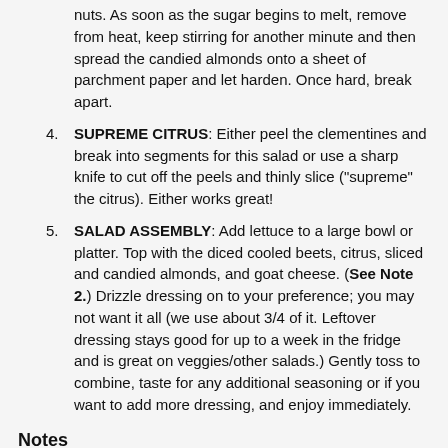nuts. As soon as the sugar begins to melt, remove from heat, keep stirring for another minute and then spread the candied almonds onto a sheet of parchment paper and let harden. Once hard, break apart.
SUPREME CITRUS: Either peel the clementines and break into segments for this salad or use a sharp knife to cut off the peels and thinly slice ("supreme" the citrus). Either works great!
SALAD ASSEMBLY: Add lettuce to a large bowl or platter. Top with the diced cooled beets, citrus, sliced and candied almonds, and goat cheese. (See Note 2.) Drizzle dressing on to your preference; you may not want it all (we use about 3/4 of it. Leftover dressing stays good for up to a week in the fridge and is great on veggies/other salads.) Gently toss to combine, taste for any additional seasoning or if you want to add more dressing, and enjoy immediately.
Notes
Note 1: Beets can stain your hands, nails, cutting board, and pan. I recommend using a dark plastic cutting board, lining the pan with parchment, and if desired, handling beets with gloves on. (If you